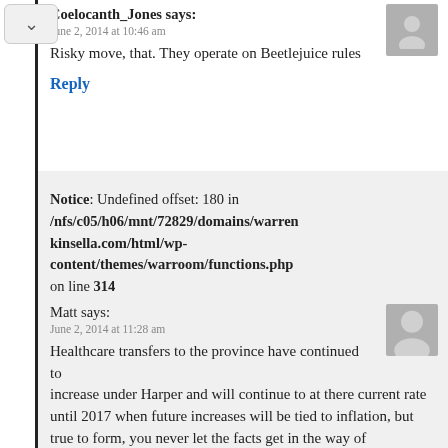Coelocanth_Jones says:
June 2, 2014 at 10:46 am
Risky move, that. They operate on Beetlejuice rules
Reply
Notice: Undefined offset: 180 in /nfs/c05/h06/mnt/72829/domains/warrenkinsella.com/html/wp-content/themes/warroom/functions.php on line 314
Matt says:
June 2, 2014 at 11:28 am
Healthcare transfers to the province have continued to increase under Harper and will continue to at there current rate until 2017 when future increases will be tied to inflation, but true to form, you never let the facts get in the way of Conservative bashing.